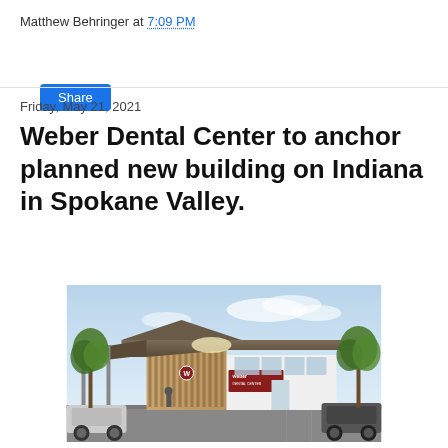Matthew Behringer at 7:09 PM
Share
Friday, May 21, 2021
Weber Dental Center to anchor planned new building on Indiana in Spokane Valley.
[Figure (photo): Architectural rendering of Weber Dental Center building exterior with trees, parking lot, and signage]